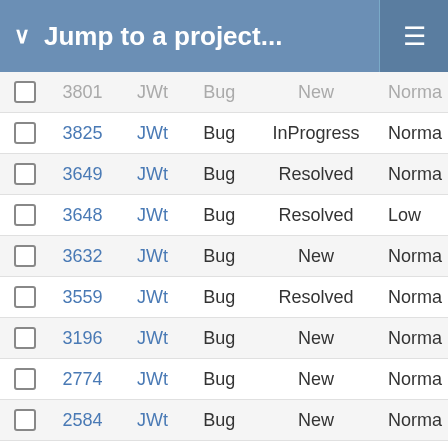Jump to a project...
|  | # | Project | Type | Status | Priority |
| --- | --- | --- | --- | --- | --- |
|  | 3801 | JWt | Bug | New | Norma |
|  | 3825 | JWt | Bug | InProgress | Norma |
|  | 3649 | JWt | Bug | Resolved | Norma |
|  | 3648 | JWt | Bug | Resolved | Low |
|  | 3632 | JWt | Bug | New | Norma |
|  | 3559 | JWt | Bug | Resolved | Norma |
|  | 3196 | JWt | Bug | New | Norma |
|  | 2774 | JWt | Bug | New | Norma |
|  | 2584 | JWt | Bug | New | Norma |
|  | 2524 | JWt | Bug | Feedback | Norma |
|  | 2319 | JWt | Bug | Feedback | Norma |